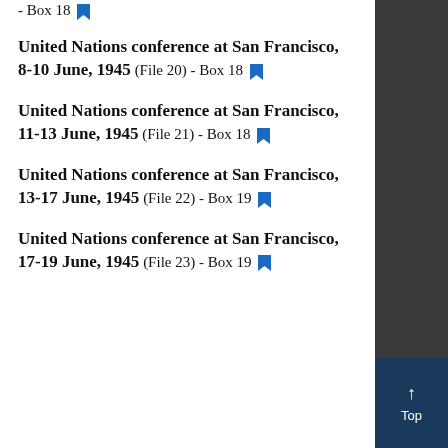- Box 18 [bookmark]
United Nations conference at San Francisco, 8-10 June, 1945 (File 20) - Box 18 [bookmark]
United Nations conference at San Francisco, 11-13 June, 1945 (File 21) - Box 18 [bookmark]
United Nations conference at San Francisco, 13-17 June, 1945 (File 22) - Box 19 [bookmark]
United Nations conference at San Francisco, 17-19 June, 1945 (File 23) - Box 19 [bookmark]